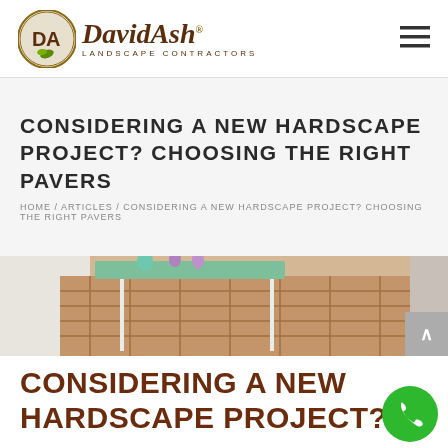David Ash Landscape Contractors
CONSIDERING A NEW HARDSCAPE PROJECT? CHOOSING THE RIGHT PAVERS
HOME / ARTICLES / CONSIDERING A NEW HARDSCAPE PROJECT? CHOOSING THE RIGHT PAVERS
[Figure (photo): Outdoor patio with brick pavers and a white folding table with small figurines on top]
CONSIDERING A NEW HARDSCAPE PROJECT?